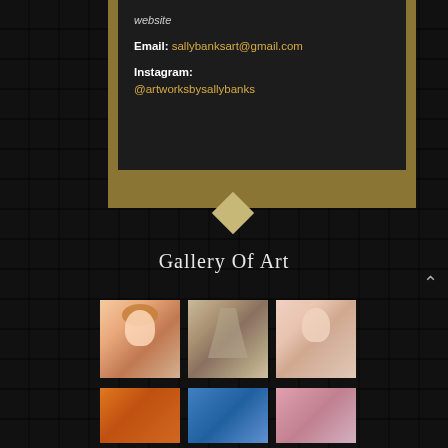website
Email: sallybanksart@gmail.com
Instagram: @artworksbysallybanks
Gallery Of Art
[Figure (photo): Thumbnail photo of a young girl with curly red/auburn hair, portrait painting style]
[Figure (photo): Thumbnail photo of the Trevi Fountain in Rome]
[Figure (photo): Thumbnail photo of a young blonde girl, portrait painting style]
[Figure (photo): Thumbnail of an orange/warm colored artwork (partially visible at bottom)]
[Figure (photo): Thumbnail of a blue colored artwork (partially visible at bottom)]
[Figure (photo): Thumbnail of a pink colored artwork (partially visible at bottom)]